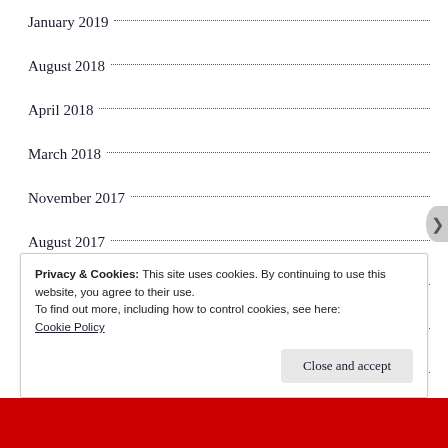January 2019
August 2018
April 2018
March 2018
November 2017
August 2017
May 2017
April 2017
October 2016
August 2016
Privacy & Cookies: This site uses cookies. By continuing to use this website, you agree to their use.
To find out more, including how to control cookies, see here:
Cookie Policy
Close and accept